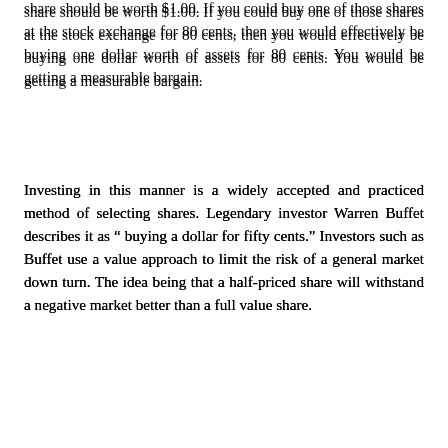share should be worth $1.00. If you could buy one of those shares at the stock exchange for 80 cents, then you would effectively be buying one dollar worth of assets for 80 cents. You would be getting a measurable bargain.
Investing in this manner is a widely accepted and practiced method of selecting shares. Legendary investor Warren Buffet describes it as " buying a dollar for fifty cents." Investors such as Buffet use a value approach to limit the risk of a general market down turn. The idea being that a half-priced share will withstand a negative market better than a full value share.
There are additional risk management strategies available to investors who chose to invest in undervalued companies. Dividend yield increases as a company becomes undervalued. Many value investors restrict their investments to companies that pay regular dividends. This can help to ensure that a company is cheap because it is undervalued, rather than because it is a bad or profitless company.
Value investing can certainly have its problems. One of the most difficult requirements is accurate and reliable information. Value investors use a variety of ratios to determine the value of a company. Three of the most often used are Price/Earnings ratios